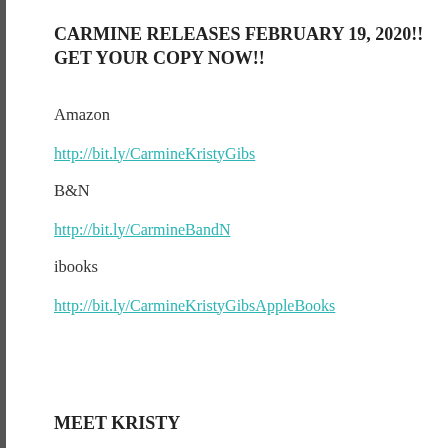CARMINE RELEASES FEBRUARY 19, 2020!! GET YOUR COPY NOW!!
Amazon
http://bit.ly/CarmineKristyGibs
B&N
http://bit.ly/CarmineBandN
ibooks
http://bit.ly/CarmineKristyGibsAppleBooks
MEET KRISTY